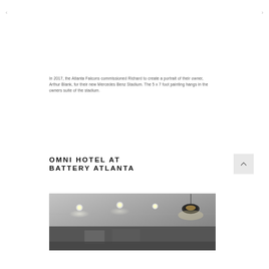In 2017, the Atlanta Falcons commissioned Richard to create a portrait of their owner, Arthur Blank, for their new Mercedes Benz Stadium. The 5 x 7 foot painting hangs in the owners suite of the stadium.
OMNI HOTEL AT BATTERY ATLANTA
[Figure (photo): Interior photo of the Omni Hotel at Battery Atlanta showing ceiling with recessed lighting and pendant lamp fixtures]